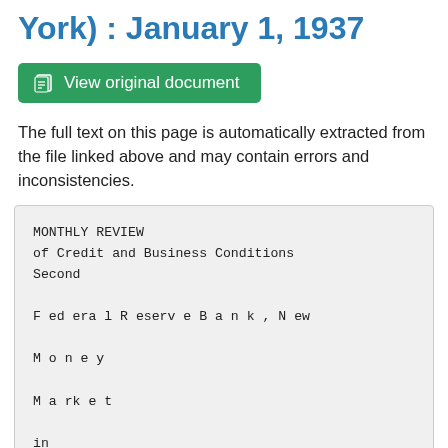York) : January 1, 1937
View original document
The full text on this page is automatically extracted from the file linked above and may contain errors and inconsistencies.
MONTHLY REVIEW
of Credit and Business Conditions
Second

F ed era l R eserv e B a n k , N ew

M o n e y

M a rk e t

in

F e d e ra l